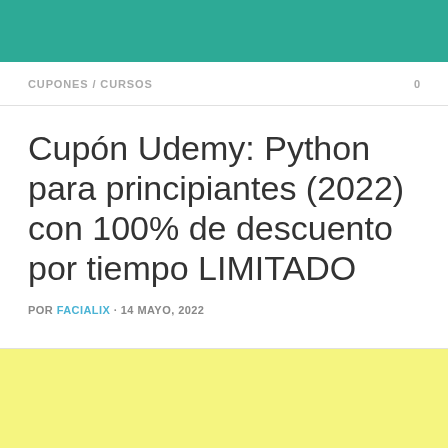CUPONES / CURSOS   0
Cupón Udemy: Python para principiantes (2022) con 100% de descuento por tiempo LIMITADO
POR FACIALIX · 14 MAYO, 2022
[Figure (other): Yellow background area at bottom of page]